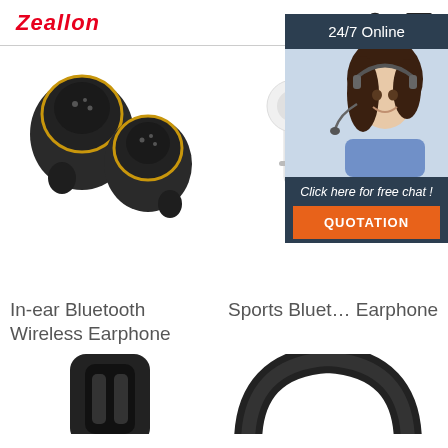Zeallon
[Figure (photo): In-ear Bluetooth Wireless Earphone product photo — two small dark earbuds with gold ring accents]
[Figure (photo): Sports Bluetooth Earphone product photo — white wireless earphone with stem]
[Figure (photo): 24/7 Online chat widget with female customer service agent wearing headset]
In-ear Bluetooth Wireless Earphone
Sports Bluetooth Earphone
[Figure (photo): Bottom-left product — black device (partial, cropped)]
[Figure (photo): Bottom-right product — black curved headphone arc (partial, cropped)]